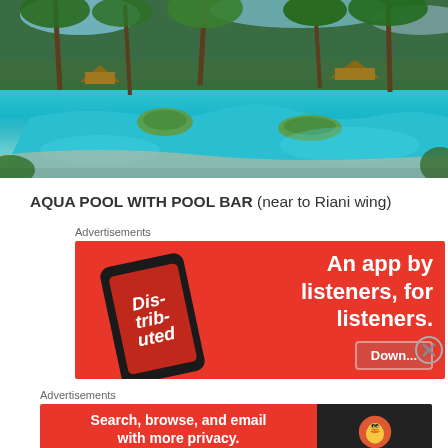[Figure (photo): Aerial view of a tropical resort pool (Aqua Pool) surrounded by palm trees and lush greenery, with islands in the pool and ocean visible in background]
AQUA POOL WITH POOL BAR (near to Riani wing)
[Figure (other): Advertisement banner for a podcast app (Distributed) on red background with phone mockup and text: An app by listeners, for listeners.]
[Figure (other): Advertisement banner for DuckDuckGo: Search, browse, and email with more privacy. All in One Free App]